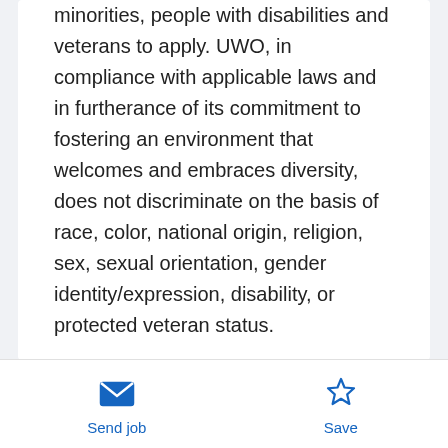minorities, people with disabilities and veterans to apply. UWO, in compliance with applicable laws and in furtherance of its commitment to fostering an environment that welcomes and embraces diversity, does not discriminate on the basis of race, color, national origin, religion, sex, sexual orientation, gender identity/expression, disability, or protected veteran status.
DEI Statement
Diversity drives innovation, creativity, and progress. At the University of Wisconsin Oshkosh, the culture, identities, life experiences, unique abilities, and talents